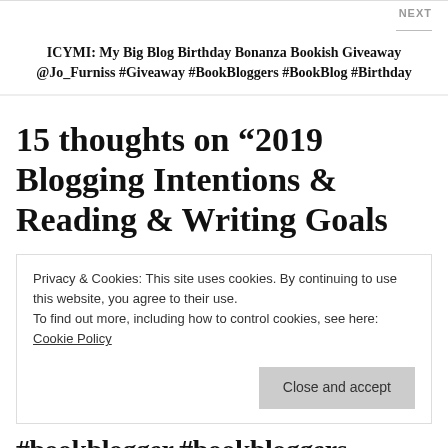NEXT
ICYMI: My Big Blog Birthday Bonanza Bookish Giveaway @Jo_Furniss #Giveaway #BookBloggers #BookBlog #Birthday
15 thoughts on “2019 Blogging Intentions & Reading & Writing Goals
Privacy & Cookies: This site uses cookies. By continuing to use this website, you agree to their use.
To find out more, including how to control cookies, see here: Cookie Policy
Close and accept
#bookblogger #bookbloggers